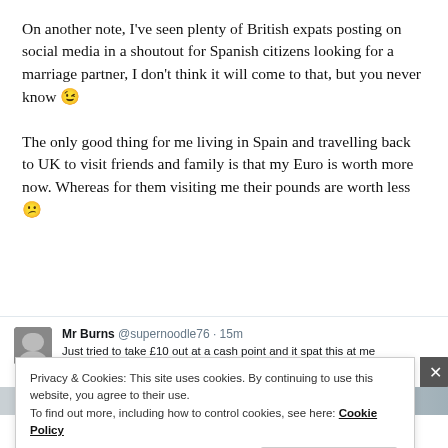On another note, I've seen plenty of British expats posting on social media in a shoutout for Spanish citizens looking for a marriage partner, I don't think it will come to that, but you never know 😉
The only good thing for me living in Spain and travelling back to UK to visit friends and family is that my Euro is worth more now. Whereas for them visiting me their pounds are worth less 😕
[Figure (screenshot): Tweet by Mr Burns @supernoodle76 · 15m: Just tried to take £10 out at a cash point and it spat this at me #EURefResults, with a blurred image below]
Privacy & Cookies: This site uses cookies. By continuing to use this website, you agree to their use.
To find out more, including how to control cookies, see here: Cookie Policy
Close and accept